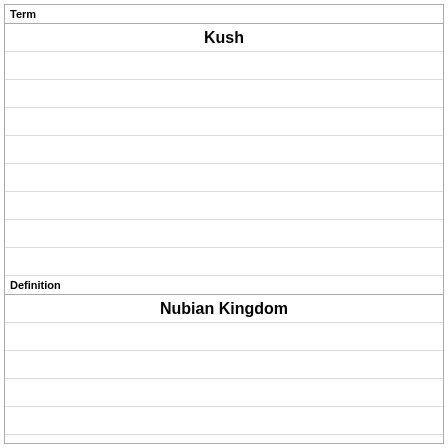Term
Kush
Definition
Nubian Kingdom